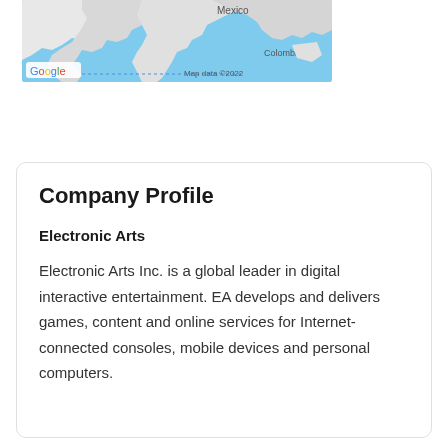[Figure (map): Google Maps screenshot showing Central America region with Mexico and Colombia labels visible. Light blue water background with white land masses. Google logo and 'Map data ©2022' watermark visible.]
Company Profile
Electronic Arts
Electronic Arts Inc. is a global leader in digital interactive entertainment. EA develops and delivers games, content and online services for Internet-connected consoles, mobile devices and personal computers.